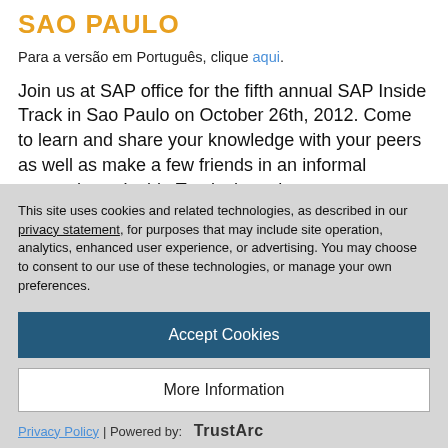SAO PAULO
Para a versão em Português, clique aqui.
Join us at SAP office for the fifth annual SAP Inside Track in Sao Paulo on October 26th, 2012. Come to learn and share your knowledge with your peers as well as make a few friends in an informal atmosphere. Inside Tracks have been very successful in other parts of the world, including Europe, Australia, and North America, so this
This site uses cookies and related technologies, as described in our privacy statement, for purposes that may include site operation, analytics, enhanced user experience, or advertising. You may choose to consent to our use of these technologies, or manage your own preferences.
Accept Cookies
More Information
Privacy Policy | Powered by: TrustArc
our transmission at this address: